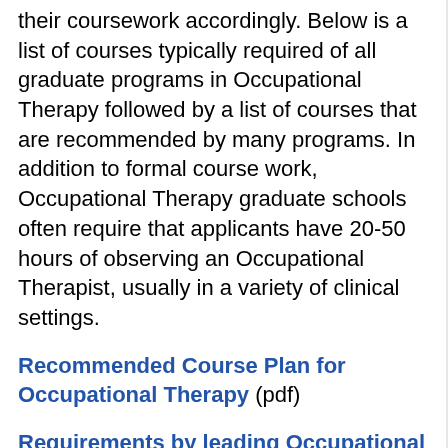their coursework accordingly. Below is a list of courses typically required of all graduate programs in Occupational Therapy followed by a list of courses that are recommended by many programs. In addition to formal course work, Occupational Therapy graduate schools often require that applicants have 20-50 hours of observing an Occupational Therapist, usually in a variety of clinical settings.
Recommended Course Plan for Occupational Therapy (pdf)
Requirements by leading Occupational Therapy Graduate Programs (xls)
The recommended courses are noted below. Additional information per course can be found on the University Bulletin.
Requirements for almost all programs: